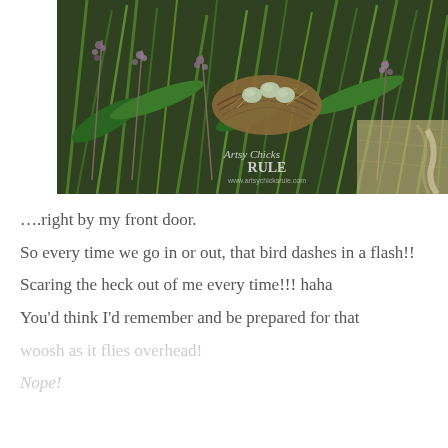[Figure (photo): A bird nest with three small pale blue-green eggs, nestled among wild grasses and purple wildflowers, with a watermark reading 'Artsy Chicks RULE www.artsychicksrule.com']
….right by my front door.
So every time we go in or out, that bird dashes in a flash!!
Scaring the heck out of me every time!!! haha
You'd think I'd remember and be prepared for that woosh as it flies overhead!
Nope!